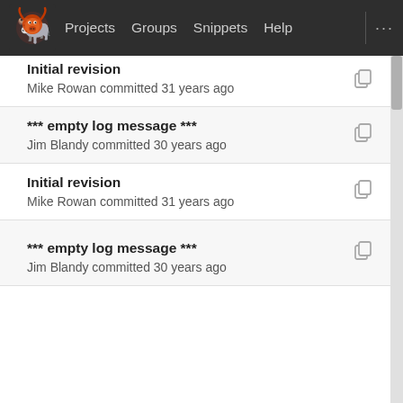Projects  Groups  Snippets  Help
Initial revision
Mike Rowan committed 31 years ago
*** empty log message ***
Jim Blandy committed 30 years ago
Initial revision
Mike Rowan committed 31 years ago
*** empty log message ***
Jim Blandy committed 30 years ago